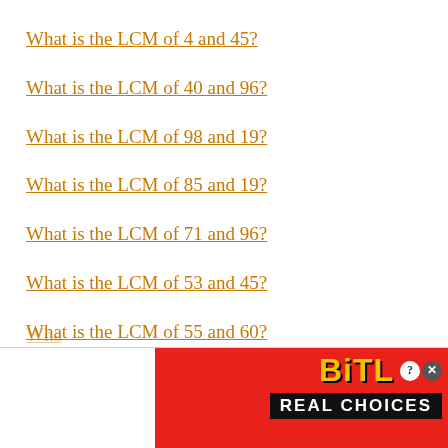What is the LCM of 4 and 45?
What is the LCM of 40 and 96?
What is the LCM of 98 and 19?
What is the LCM of 85 and 19?
What is the LCM of 71 and 96?
What is the LCM of 53 and 45?
What is the LCM of 55 and 60?
Wha…
[Figure (screenshot): BitLife advertisement banner with red background, emoji characters, BitLife logo in yellow, and 'REAL CHOICES' text on black bar]